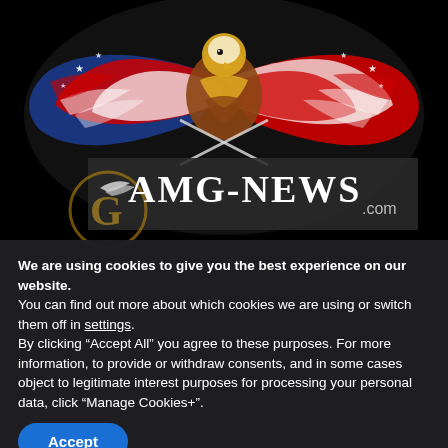[Figure (illustration): AMG-News.com website logo/header image. Black circular background with an American eagle emblem featuring red, white, and blue flag-patterned wings spread wide, with a golden eagle head at center. Below the eagle is a dark banner with the text 'AMG-NEWS.com' in large serif white font with decorative wing flourish. A partial golden 'G' watermark circle is visible at lower left.]
We are using cookies to give you the best experience on our website.
You can find out more about which cookies we are using or switch them off in settings.
By clicking “Accept All” you agree to these purposes. For more information, to provide or withdraw consents, and in some cases object to legitimate interest purposes for processing your personal data, click “Manage Cookies+”.
Accept